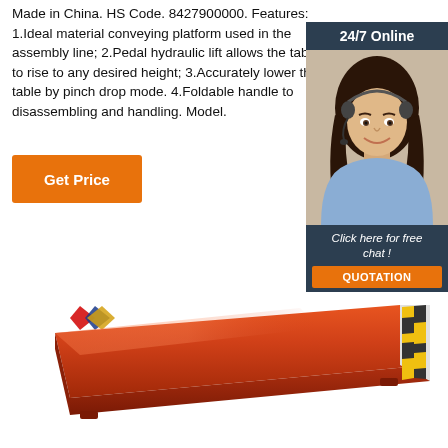Made in China. HS Code. 8427900000. Features: 1.Ideal material conveying platform used in the assembly line; 2.Pedal hydraulic lift allows the table to rise to any desired height; 3.Accurately lower the table by pinch drop mode. 4.Foldable handle to disassembling and handling. Model.
Get Price
[Figure (infographic): 24/7 Online chat support box with a smiling female customer service representative wearing a headset, dark background with text 'Click here for free chat!' and an orange QUOTATION button]
[Figure (logo): Company logo with geometric diamond shapes in red, blue, and gold colors]
[Figure (photo): Red flat hydraulic scissor lift table on white background, viewed from above at an angle, with yellow/black striped edge trim at the far end]